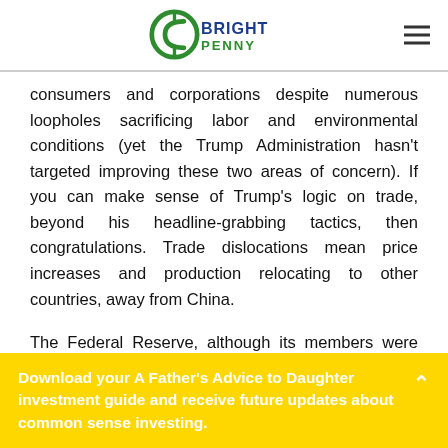Bright Penny logo and navigation
consumers and corporations despite numerous loopholes sacrificing labor and environmental conditions (yet the Trump Administration hasn't targeted improving these two areas of concern). If you can make sense of Trump's logic on trade, beyond his headline-grabbing tactics, then congratulations. Trade dislocations mean price increases and production relocating to other countries, away from China.
The Federal Reserve, although its members were split, signaled future reductions in short-term interest rates
Download your A Father's Advice to Daughter investment guide and receive future updates about common sense investing.